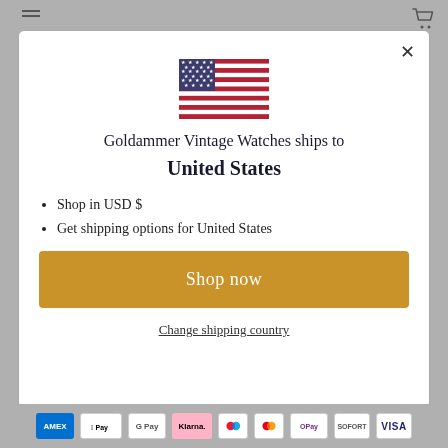[Figure (illustration): US flag emoji centered in modal dialog]
Goldammer Vintage Watches ships to United States
Shop in USD $
Get shipping options for United States
Shop now
Change shipping country
[Figure (illustration): Payment icons bar: American Express, Apple Pay, Google Pay, Klarna, Maestro, Mastercard, OPay, SOFORT, VISA]